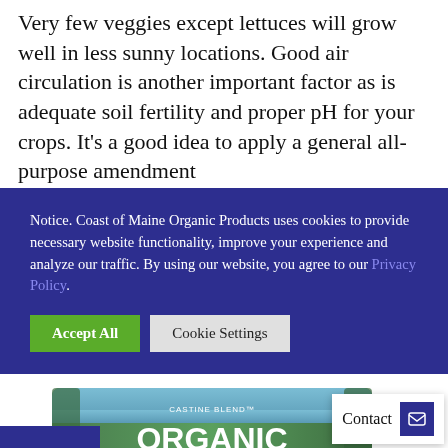Very few veggies except lettuces will grow well in less sunny locations. Good air circulation is another important factor as is adequate soil fertility and proper pH for your crops. It's a good idea to apply a general all-purpose amendment
Notice. Coast of Maine Organic Products uses cookies to provide necessary website functionality, improve your experience and analyze our traffic. By using our website, you agree to our Privacy Policy.
[Figure (photo): Bag of Castine Blend Organic Raised Bed Mix product, green packaging with white text listing ingredients including compost, peat, biochar, worm castings, poultry manure, kelp meal, greensand, lime and mycorrhizae]
Contact